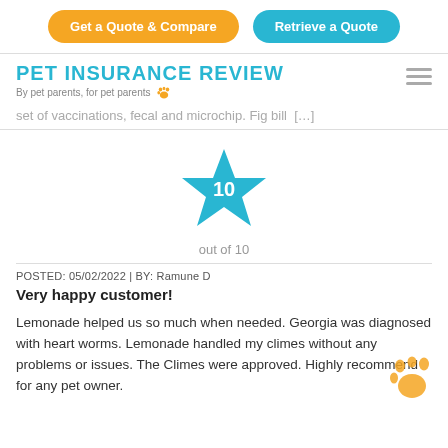Get a Quote & Compare | Retrieve a Quote
PET INSURANCE REVIEW
By pet parents, for pet parents 🐾
set of vaccinations, fecal and microchip. Fig bill […]
[Figure (other): Blue star rating icon with number 10 inside, labeled 'out of 10']
POSTED: 05/02/2022 | BY: Ramune D
Very happy customer!
Lemonade helped us so much when needed. Georgia was diagnosed with heart worms. Lemonade handled my climes without any problems or issues. The Climes were approved. Highly recommend for any pet owner.